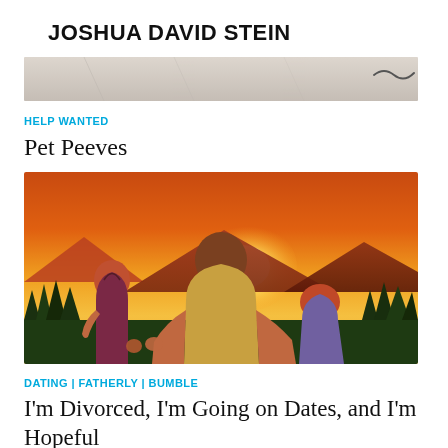JOSHUA DAVID STEIN
[Figure (photo): Partial view of a crumpled paper or document with a scribble/line visible at the right edge, light gray and beige tones]
HELP WANTED
Pet Peeves
[Figure (illustration): Illustrated image of a father with two red-haired children viewed from behind, watching a sunset over mountains with orange and golden sky and pine trees in the foreground]
DATING | FATHERLY | BUMBLE
I'm Divorced, I'm Going on Dates, and I'm Hopeful